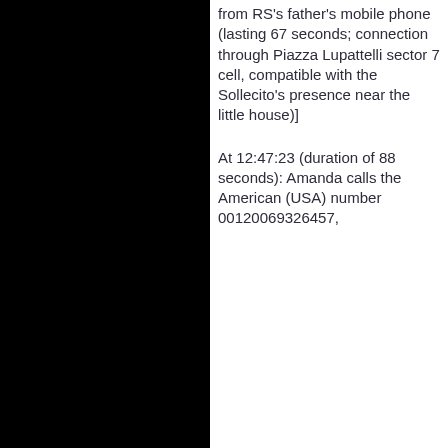from RS's father's mobile phone (lasting 67 seconds; connection through Piazza Lupattelli sector 7 cell, compatible with the Sollecito's presence near the little house)]
At 12:47:23 (duration of 88 seconds): Amanda calls the American (USA) number 00120069326457,